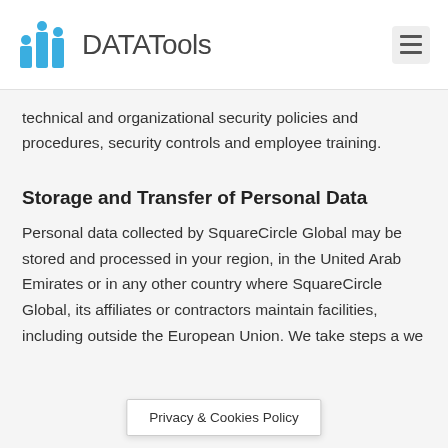DATATools
technical and organizational security policies and procedures, security controls and employee training.
Storage and Transfer of Personal Data
Personal data collected by SquareCircle Global may be stored and processed in your region, in the United Arab Emirates or in any other country where SquareCircle Global, its affiliates or contractors maintain facilities, including outside the European Union. We take steps a we
Privacy & Cookies Policy